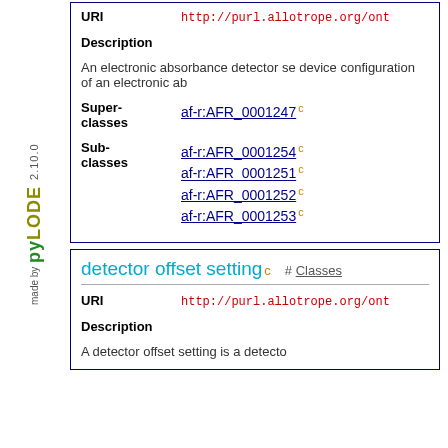made by pyLODE 2.10.0
URI http://purl.allotrope.org/ont
Description An electronic absorbance detector se device configuration of an electronic ab
Super-classes af-r:AFR_0001247 c
Sub-classes af-r:AFR_0001254 c af-r:AFR_0001251 c af-r:AFR_0001252 c af-r:AFR_0001253 c
detector offset setting c  # Classes
URI http://purl.allotrope.org/ont
Description A detector offset setting is a detecto